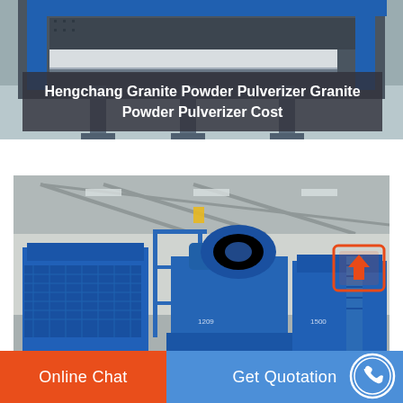[Figure (photo): Close-up photo of a blue industrial pulverizer/grinding machine with mechanical components visible from below, taken in a factory setting.]
Hengchang Granite Powder Pulverizer Granite Powder Pulverizer Cost
[Figure (photo): Wide-angle photo of large blue industrial pulverizer machines installed in a factory hall with high ceilings, steel structure, and an orange upload/share icon overlay in the top-right corner.]
Online Chat
Get Quotation